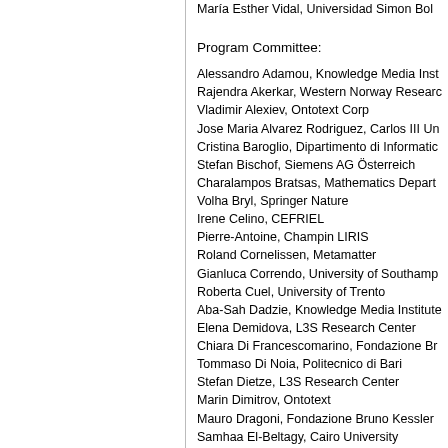Maria Esther Vidal, Universidad Simon Bol...
Program Committee:
Alessandro Adamou, Knowledge Media Inst...
Rajendra Akerkar, Western Norway Resear...
Vladimir Alexiev, Ontotext Corp
Jose Maria Alvarez Rodriguez, Carlos III Un...
Cristina Baroglio, Dipartimento di Informatic...
Stefan Bischof, Siemens AG Österreich
Charalampos Bratsas, Mathematics Depart...
Volha Bryl, Springer Nature
Irene Celino, CEFRIEL
Pierre-Antoine, Champin LIRIS
Roland Cornelissen, Metamatter
Gianluca Correndo, University of Southamp...
Roberta Cuel, University of Trento
Aba-Sah Dadzie, Knowledge Media Institute...
Elena Demidova, L3S Research Center
Chiara Di Francescomarino, Fondazione Br...
Tommaso Di Noia, Politecnico di Bari
Stefan Dietze, L3S Research Center
Marin Dimitrov, Ontotext
Mauro Dragoni, Fondazione Bruno Kessler
Samhaa El-Beltagy, Cairo University
Ingo Feinerer, University of Applied Science...
Javier D. Fernández, Computer Science De...
Fabien Gandon, Inria
Jorge Garcia, Ontology Engineering Group,...
Roberto Garcia, Universitat de Lleida
José María García, University of Sevilla...